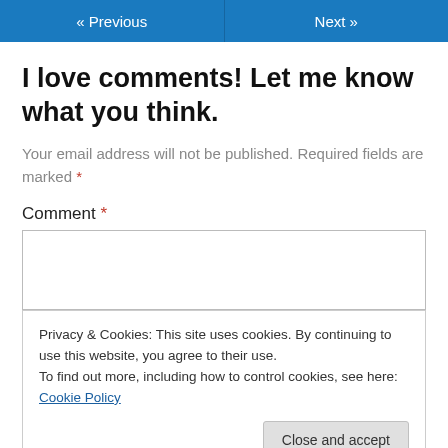« Previous   Next »
I love comments! Let me know what you think.
Your email address will not be published. Required fields are marked *
Comment *
Privacy & Cookies: This site uses cookies. By continuing to use this website, you agree to their use.
To find out more, including how to control cookies, see here: Cookie Policy
Close and accept